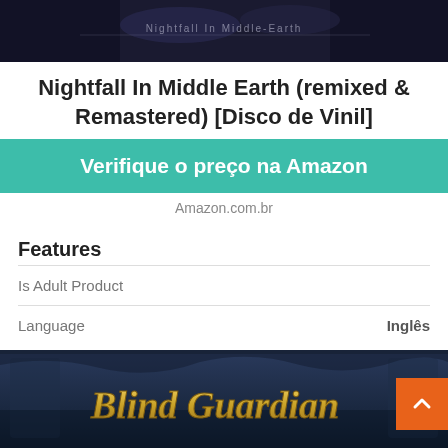[Figure (photo): Dark fantasy album artwork banner at the top, partially visible, showing characters in a nighttime Middle Earth scene with text 'Nightfall In Middle Earth']
Nightfall In Middle Earth (remixed & Remastered) [Disco de Vinil]
Verifique o preço na Amazon
Amazon.com.br
Features
| Feature | Value |
| --- | --- |
| Is Adult Product |  |
| Language | Inglês |
[Figure (photo): Blind Guardian album artwork showing the band name in golden fantasy lettering against a dark blue ornate background]